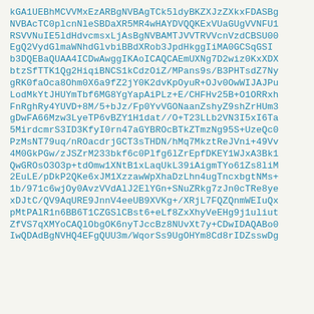kGA1UEBhMCVVMxEzARBgNVBAgTCk5ldyBKZXJzZXkxFDASBgNVBAcTC0plcnNleSBDaXR5MR4wHAYDVQQKExVUaGUgVVNFU1RSVVNuIE5ldHdvcmsxLjAsBgNVBAMTJVVTRVVcnVzdCBSU00EgQ2VydGlmaWNhdGlvbiBBdXRob3JpdHkggIiMA0GCSqGSIb3DQEBaQUAA4ICDwAwggIKAoICAQCAEmUXNg7D2wiz0KxXDXbtzSfTTK1Qg2HiqiBNCS1kCdzOiZ/MPans9s/B3PHTsdZ7NygRK0faOca8Ohm0X6a9fZ2jY0K2dvKpOyuR+OJv0OwWIJAJPuLodMkYtJHUYmTbf6MG8YgYapAiPLz+E/CHFHv25B+O1ORRxhFnRghRy4YUVD+8M/5+bJz/Fp0YvVGONaanZshyZ9shZrHUm3gDwFA66Mzw3LyeTP6vBZY1H1dat//O+T23LLb2VN3I5xI6Ta5MirdcmrS3ID3KfyI0rn47aGYBROcBTkZTmzNg95S+UzeQc0PzMsNT79uq/nROacdrjGCT3sTHDN/hMq7MkztReJVni+49Vv4M0GkPGw/zJSZrM233bkf6c0Plfg6lZrEpfDKEY1WJxA3Bk1QwGROsO3O3p+tdOmw1XNtB1xLaqUkL39iAigmTYo61Zs8liM2EuLE/pDkP2QKe6xJM1XzzawWpXhaDzLhn4ugTncxbgtNMs+1b/971c6wjOy0AvzVVdAlJ2ElYGn+SNuZRkg7zJn0cTRe8yexDJtC/QV9AqURE9JnnV4eeUB9XVKg+/XRjL7FQZQnmWEIuQxpMtPAlR1n6BB6T1CZGSlCBst6+eLf8ZxXhyVeEHg9j1uliutZfVS7qXMYoCAQlObgOK6nyTJccBz8NUvXt7y+CDwIDAQABo0IwQDAdBgNVHQ4EFgQUU3m/WqorSs9UgOHYm8Cd8rIDZsswDg